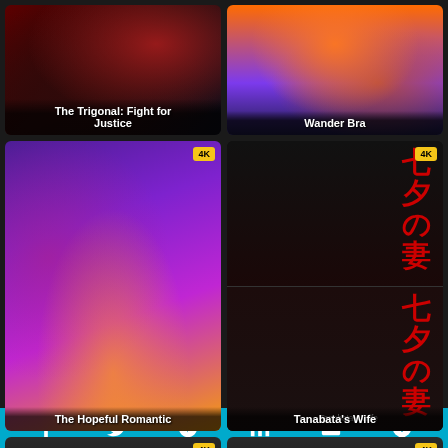[Figure (illustration): Movie poster for The Trigonal: Fight for Justice - dark action film poster with red tones]
The Trigonal: Fight for Justice
[Figure (illustration): Movie poster for Wander Bra - colorful fantasy/comedy film poster with orange and purple tones]
Wander Bra
[Figure (illustration): Movie poster for The Hopeful Romantic - romantic comedy with purple and gold tones, 4K badge]
The Hopeful Romantic
[Figure (illustration): Movie poster for Tanabata's Wife - dark Japanese drama with red kanji characters, 4K badge]
Tanabata's Wife
[Figure (screenshot): Partially visible movie card at bottom left]
[Figure (screenshot): Partially visible movie card at bottom right]
[Figure (infographic): Social sharing bar with icons: Facebook, Twitter, Pinterest, LinkedIn, Email, More]